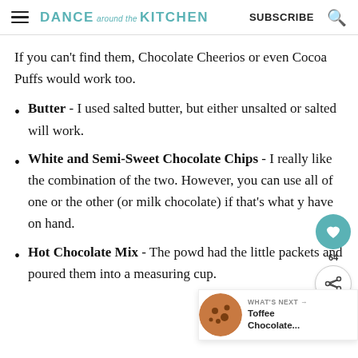DANCE around the KITCHEN  SUBSCRIBE
If you can't find them, Chocolate Cheerios or even Cocoa Puffs would work too.
Butter - I used salted butter, but either unsalted or salted will work.
White and Semi-Sweet Chocolate Chips - I really like the combination of the two. However, you can use all of one or the other (or milk chocolate) if that's what you have on hand.
Hot Chocolate Mix - The powder had the little packets and poured them into a measuring cup.